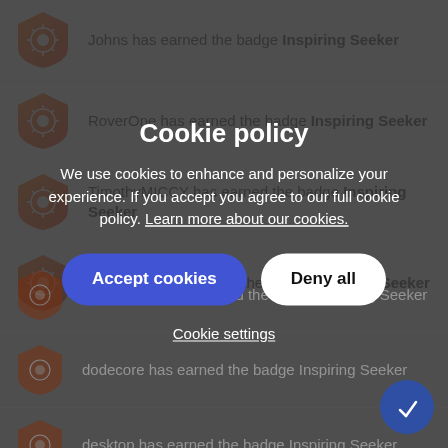Johns has earned the badge Inspiring Seeker
RoverOne has earned the badge Inspiring Seeker
TimothyMICCY has earned the badge Inspiring Seeker
Thierry FR has earned the badge Inspiring Seeker
Sadya_Nate has earned the badge Inspiring Seeker
dodecore has earned the badge Inspiring Seeker
desktop has earned the badge Inspiring Seeker
Xela has earned the badge Inspiring Seeker
Cookie policy
We use cookies to enhance and personalize your experience. If you accept you agree to our full cookie policy. Learn more about our cookies.
Accept cookies  Deny all
Cookie settings